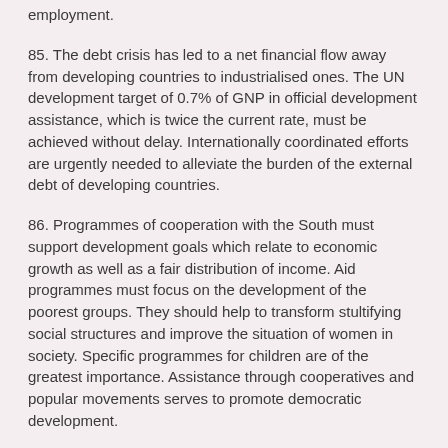employment.
85. The debt crisis has led to a net financial flow away from developing countries to industrialised ones. The UN development target of 0.7% of GNP in official development assistance, which is twice the current rate, must be achieved without delay. Internationally coordinated efforts are urgently needed to alleviate the burden of the external debt of developing countries.
86. Programmes of cooperation with the South must support development goals which relate to economic growth as well as a fair distribution of income. Aid programmes must focus on the development of the poorest groups. They should help to transform stultifying social structures and improve the situation of women in society. Specific programmes for children are of the greatest importance. Assistance through cooperatives and popular movements serves to promote democratic development.
87. A broadly based approach to development is also an important factor in stemming the massive tide of migration to the big cities of the South, many of which are threatened by uncontrollable